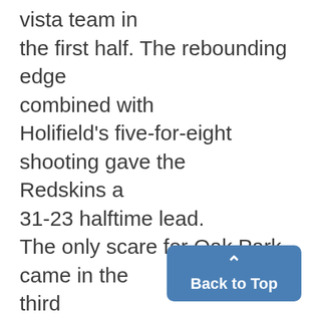vista team in the first half. The rebounding edge combined with Holifield's five-for-eight shooting gave the Redskins a 31-23 halftime lead. The only scare for Oak Park came in the third quarter as the Knights outhustled the Redskins and pulled within two points on an Archie Tullos steal and layup with 1:04 left in the period. Oak park remained patient on